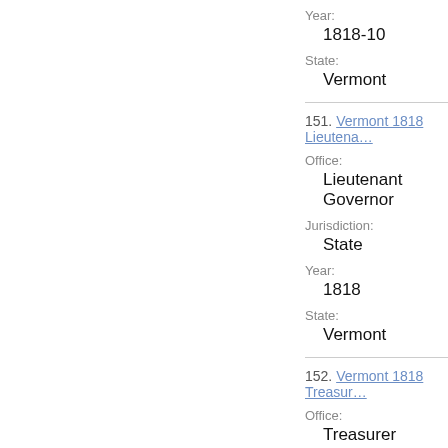Year:
1818-10
State:
Vermont
151. Vermont 1818 Lieutena...
Office:
Lieutenant Governor
Jurisdiction:
State
Year:
1818
State:
Vermont
152. Vermont 1818 Treasur...
Office:
Treasurer
Jurisdiction:
State